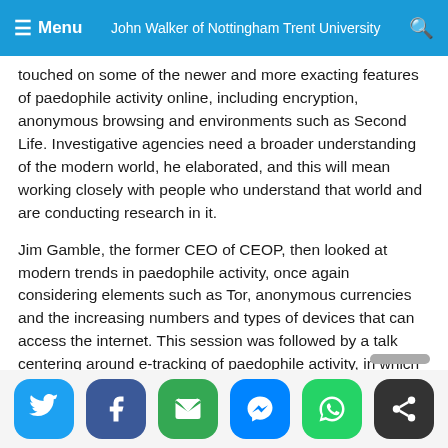Menu  John Walker of Nottingham Trent University
touched on some of the newer and more exacting features of paedophile activity online, including encryption, anonymous browsing and environments such as Second Life. Investigative agencies need a broader understanding of the modern world, he elaborated, and this will mean working closely with people who understand that world and are conducting research in it.
Jim Gamble, the former CEO of CEOP, then looked at modern trends in paedophile activity, once again considering elements such as Tor, anonymous currencies and the increasing numbers and types of devices that can access the internet. This session was followed by a talk centering around e-tracking of paedophile activity, in which David Benford of Blackstage Forensics discussed how forensic practitioners can identify people who are sharing child abuse images online.
[Figure (other): Social sharing buttons: Twitter (blue), Facebook (dark blue), Email (green), Messenger (blue), WhatsApp (green), Share (dark/black)]